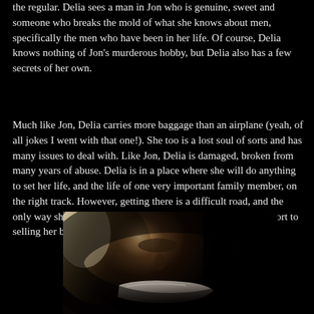the regular. Delia sees a man in Jon who is genuine, sweet and someone who breaks the mold of what she knows about men, specifically the men who have been in her life. Of course, Delia knows nothing of Jon's murderous hobby, but Delia also has a few secrets of her own.
Much like Jon, Delia carries more baggage than an airplane (yeah, of all jokes I went with that one!). She too is a lost soul of sorts and has many issues to deal with. Like Jon, Delia is damaged, broken from many years of abuse. Delia is in a place where she will do anything to set her life, and the life of one very important family member, on the right track. However, getting there is a difficult road, and the only way she can see to create the right life for herself is to resort to selling her body.
[Figure (photo): A dark cinematic photo of a blonde woman with tape over her mouth, lit dramatically against a dark background]